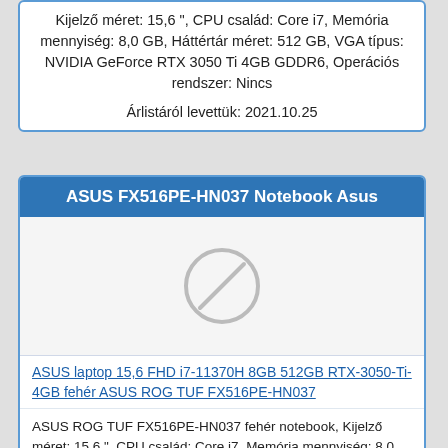Kijelző méret: 15,6 ", CPU család: Core i7, Memória mennyiség: 8,0 GB, Háttértár méret: 512 GB, VGA típus: NVIDIA GeForce RTX 3050 Ti 4GB GDDR6, Operációs rendszer: Nincs
Árlistáról levettük: 2021.10.25
ASUS FX516PE-HN037 Notebook Asus
[Figure (other): Placeholder image with a circle and diagonal slash indicating no image available]
ASUS laptop 15,6 FHD i7-11370H 8GB 512GB RTX-3050-Ti-4GB fehér ASUS ROG TUF FX516PE-HN037
ASUS ROG TUF FX516PE-HN037 fehér notebook, Kijelző méret: 15,6 ", CPU család: Core i7, Memória mennyiség: 8,0 GB, Háttértár méret: 512 GB, VGA